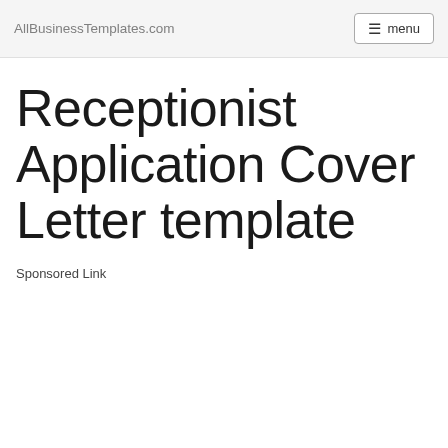AllBusinessTemplates.com menu
Receptionist Application Cover Letter template
Sponsored Link